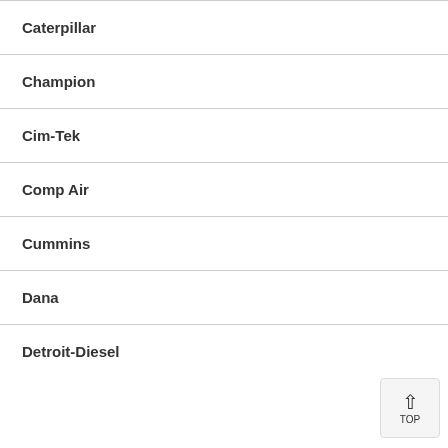Caterpillar
Champion
Cim-Tek
Comp Air
Cummins
Dana
Detroit-Diesel